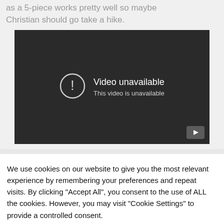as a 5-piece works pretty well so maybe Christian should go take a hike.
[Figure (screenshot): Embedded video player showing 'Video unavailable - This video is unavailable' message on a dark background with a YouTube play button icon in the bottom right corner.]
We use cookies on our website to give you the most relevant experience by remembering your preferences and repeat visits. By clicking "Accept All", you consent to the use of ALL the cookies. However, you may visit "Cookie Settings" to provide a controlled consent.
Cookie Settings | Accept All